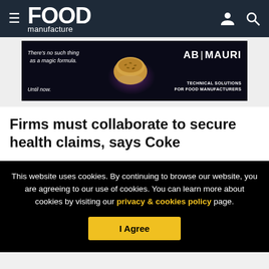FOOD manufacture
[Figure (photo): AB Mauri advertisement banner with text: There's no such thing as a magic formula. Until now. AB|MAURI TECHNICAL SOLUTIONS FOR FOOD MANUFACTURERS]
Firms must collaborate to secure health claims, says Coke
This website uses cookies. By continuing to browse our website, you are agreeing to our use of cookies. You can learn more about cookies by visiting our privacy & cookies policy page.
I Agree